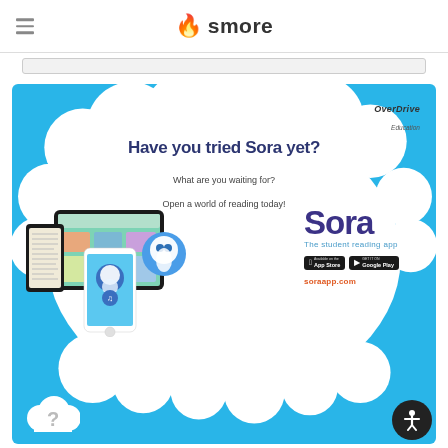smore
[Figure (infographic): Smore newsletter screenshot with search bar]
[Figure (infographic): Sora reading app advertisement on blue background with cloud bubble. Shows devices (tablet, smartphone, phone), Sora branding, App Store and Google Play badges, and URL soraapp.com. OverDrive Education logo in top right. Headline: Have you tried Sora yet? Subline: What are you waiting for? Open a world of reading today! The student reading app. Bottom left shows cloud with question mark.]